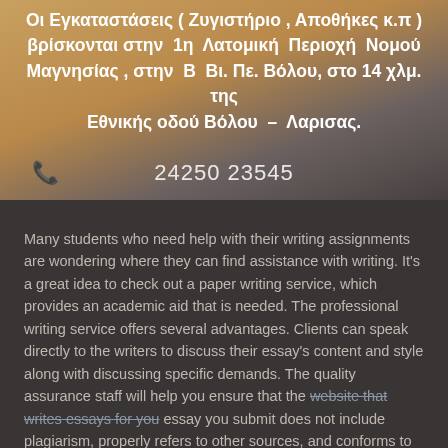Οι Εγκαταστάσεις ( Ζυγιστήριο , Αποθήκες κ.π ) βρίσκονται στην 1η Λατομική Περιοχή Νομού Μαγνησίας , στην Β Βι. Πε. Βόλου, στο 14 χλμ. της Εθνικής οδού Βόλου – Λαρισας.
24250 23545
Many students who need help with their writing assignments are wondering where they can find assistance with writing. It's a great idea to check out a paper writing service, which provides an academic aid that is needed. The professional writing service offers several advantages. Clients can speak directly to the writers to discuss their essay's content and style along with discussing specific demands. The quality assurance staff will help you ensure that the website that writes essays for you essay you submit does not include plagiarism, properly refers to other sources, and conforms to the highest academic standards.